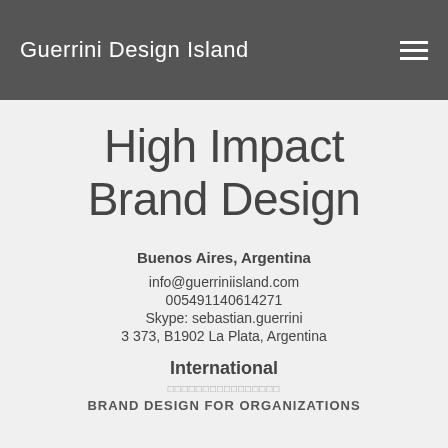Guerrini Design Island
High Impact Brand Design
Buenos Aires, Argentina
info@guerriniisland.com
005491140614271
Skype: sebastian.guerrini
3 373, B1902 La Plata, Argentina
International
□□□□□□□□□□□□□□□□
BRAND DESIGN FOR ORGANIZATIONS